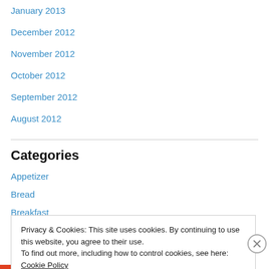January 2013
December 2012
November 2012
October 2012
September 2012
August 2012
Categories
Appetizer
Bread
Breakfast
Privacy & Cookies: This site uses cookies. By continuing to use this website, you agree to their use.
To find out more, including how to control cookies, see here: Cookie Policy
Close and accept